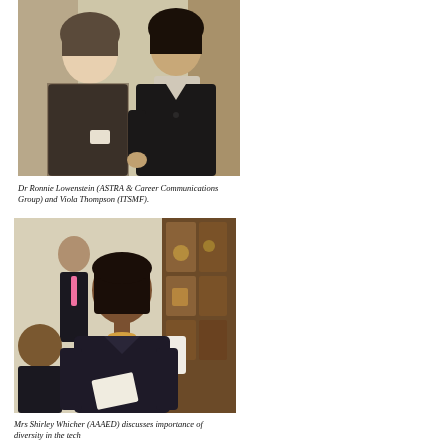[Figure (photo): Two women posing together indoors. One wears a dark patterned top, the other a black blazer with a light top underneath.]
Dr Ronnie Lowenstein (ASTRA & Career Communications Group) and Viola Thompson (ITSMF).
[Figure (photo): A woman in a dark blazer with a yellow beaded necklace holding papers, speaking at an event. Several people are seated or standing in the background inside an ornate room.]
Mrs Shirley Whicher (AAAED) discusses importance of diversity in the tech